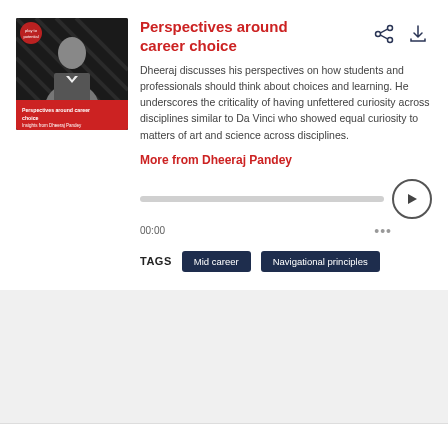[Figure (photo): Podcast thumbnail: man in suit with arms crossed, text 'Perspectives around career choice – Insights from Dheeraj Pandey', play to potential logo]
Perspectives around career choice
Dheeraj discusses his perspectives on how students and professionals should think about choices and learning. He underscores the criticality of having unfettered curiosity across disciplines similar to Da Vinci who showed equal curiosity to matters of art and science across disciplines.
More from Dheeraj Pandey
00:00
TAGS
Mid career
Navigational principles